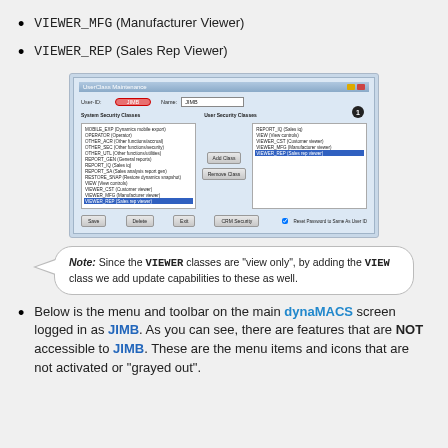VIEWER_MFG (Manufacturer Viewer)
VIEWER_REP (Sales Rep Viewer)
[Figure (screenshot): UserClass Maintenance dialog showing system security classes on the left (with VIEWER_REP highlighted in blue) and user security classes on the right (with VIEWER_REP highlighted in blue). A circled 'JIMB' label is shown in the User-ID field. A numbered badge '1' appears near the top right. Buttons include Add Class, Remove Class, Save, Delete, Exit, CRM Security.]
Note: Since the VIEWER classes are "view only", by adding the VIEW class we add update capabilities to these as well.
Below is the menu and toolbar on the main dynaMACS screen logged in as JIMB. As you can see, there are features that are NOT accessible to JIMB. These are the menu items and icons that are not activated or "grayed out".